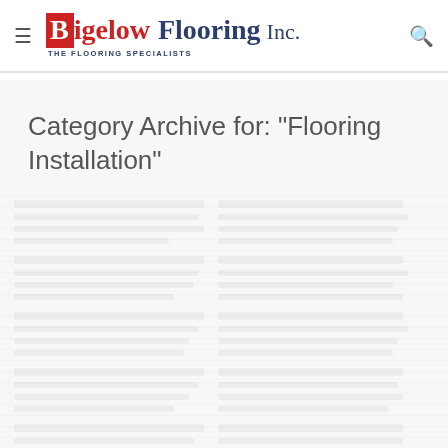Bigelow Flooring Inc. — THE FLOORING SPECIALISTS
Category Archive for: "Flooring Installation"